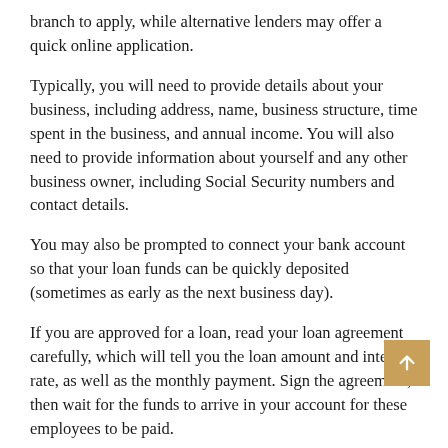branch to apply, while alternative lenders may offer a quick online application.
Typically, you will need to provide details about your business, including address, name, business structure, time spent in the business, and annual income. You will also need to provide information about yourself and any other business owner, including Social Security numbers and contact details.
You may also be prompted to connect your bank account so that your loan funds can be quickly deposited (sometimes as early as the next business day).
If you are approved for a loan, read your loan agreement carefully, which will tell you the loan amount and interest rate, as well as the monthly payment. Sign the agreement, then wait for the funds to arrive in your account for these employees to be paid.
Need immediate payday loans